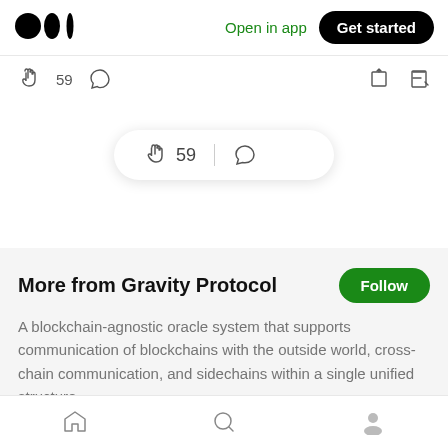[Figure (screenshot): Medium logo (two filled circles and vertical bar icon)]
Open in app
Get started
[Figure (screenshot): Clap icon with count 59 and comment icon in action bar]
[Figure (screenshot): Floating pill with clap icon, 59 count, divider, and comment icon]
More from Gravity Protocol
A blockchain-agnostic oracle system that supports communication of blockchains with the outside world, cross-chain communication, and sidechains within a single unified structure.
Gravity Protocol · Sep 23, 2020
[Figure (screenshot): Bottom navigation bar with home, search, and profile icons]